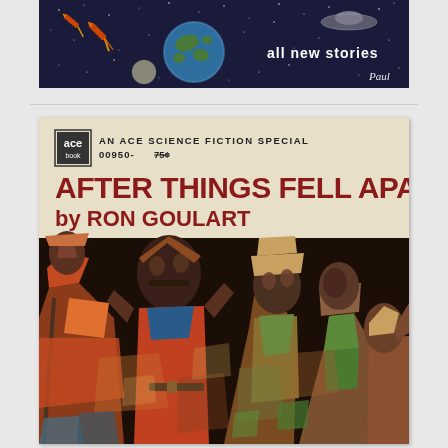[Figure (illustration): Top portion of a science fiction book cover showing a dark space scene with planets, Earth, rockets, a UFO/flying saucer, stars, and the text 'all new stories' in white, with artist signature 'Paul']
[Figure (illustration): Book cover for 'After Things Fell Apart' by Ron Goulart, an Ace Science Fiction Special (00950, 75 cents). Top portion has cream/beige background with Ace Books logo, series info, and large red bold title text. Lower portion shows a cubist/expressionist painting of a crowd of diverse figures in orange, red, green, and brown tones.]